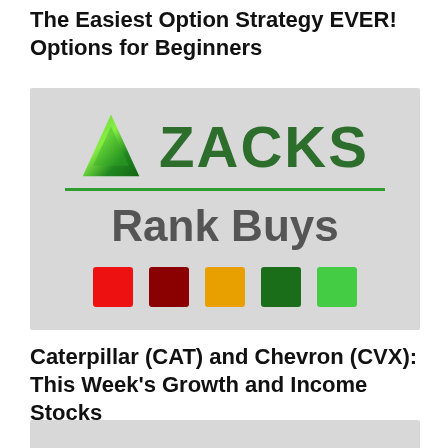The Easiest Option Strategy EVER! Options for Beginners
[Figure (logo): Zacks Rank Buys logo with green triangle, green 'ZACKS' text, green underline, 'Rank Buys' subtitle, and five colored squares (red, dark red, yellow/orange, dark green, light green)]
Caterpillar (CAT) and Chevron (CVX): This Week’s Growth and Income Stocks
[Figure (photo): Partially visible image at bottom of page (cropped)]